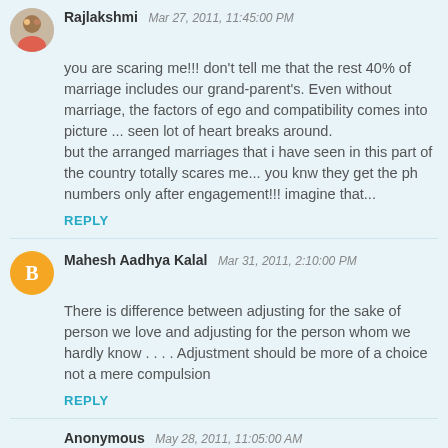Rajlakshmi  Mar 27, 2011, 11:45:00 PM
you are scaring me!!! don't tell me that the rest 40% of marriage includes our grand-parent's. Even without marriage, the factors of ego and compatibility comes into picture ... seen lot of heart breaks around.
but the arranged marriages that i have seen in this part of the country totally scares me... you knw they get the ph numbers only after engagement!!! imagine that...
REPLY
Mahesh Aadhya Kalal  Mar 31, 2011, 2:10:00 PM
There is difference between adjusting for the sake of person we love and adjusting for the person whom we hardly know . . . . Adjustment should be more of a choice not a mere compulsion
REPLY
Anonymous  May 28, 2011, 11:05:00 AM